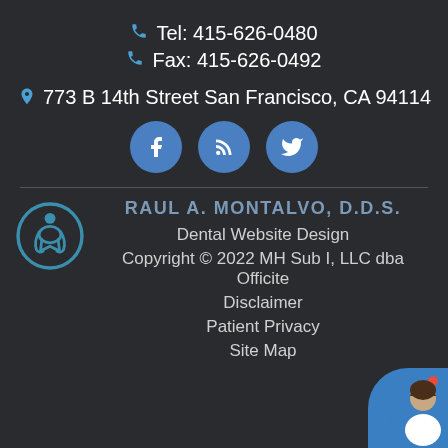Tel: 415-626-0480
Fax: 415-626-0492
773 B 14th Street San Francisco, CA 94114
[Figure (other): Social media icons: Facebook, RSS feed, Twitter as blue circles]
[Figure (other): Accessibility icon in teal circle outline]
RAUL A. MONTALVO, D.D.S.
Dental Website Design
Copyright © 2022 MH Sub I, LLC dba Officite
Disclaimer
Patient Privacy
Site Map
[Figure (photo): Chat widget with female avatar photo in bottom right corner]